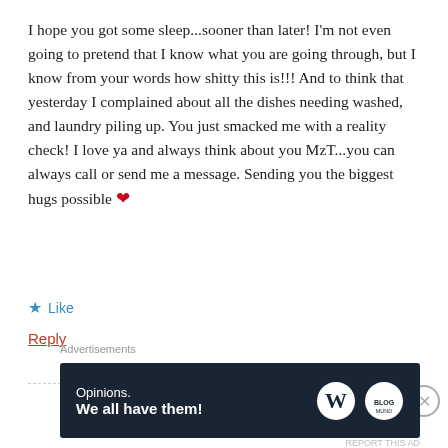I hope you got some sleep...sooner than later! I'm not even going to pretend that I know what you are going through, but I know from your words how shitty this is!!! And to think that yesterday I complained about all the dishes needing washed, and laundry piling up. You just smacked me with a reality check! I love ya and always think about you MzT...you can always call or send me a message. Sending you the biggest hugs possible ❤
★ Like
Reply
[Figure (other): Partially visible user avatar (top half of circle with dashed red border)]
Advertisements
[Figure (other): Advertisement banner with dark navy background showing WordPress logo and another logo, text reads: Opinions. We all have them!]